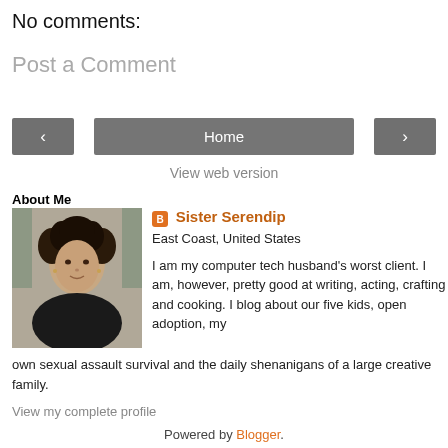No comments:
Post a Comment
Home
View web version
About Me
[Figure (photo): Profile photo of Sister Serendip, a woman with curly dark hair]
Sister Serendip
East Coast, United States
I am my computer tech husband's worst client. I am, however, pretty good at writing, acting, crafting and cooking. I blog about our five kids, open adoption, my own sexual assault survival and the daily shenanigans of a large creative family.
View my complete profile
Powered by Blogger.